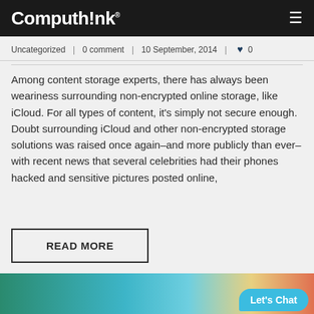Computhink
Uncategorized | 0 comment | 10 September, 2014 | ♥ 0
Among content storage experts, there has always been weariness surrounding non-encrypted online storage, like iCloud. For all types of content, it's simply not secure enough. Doubt surrounding iCloud and other non-encrypted storage solutions was raised once again–and more publicly than ever–with recent news that several celebrities had their phones hacked and sensitive pictures posted online,
READ MORE
[Figure (photo): Office desk photo with turquoise background, papers, plants, clips and sticky notes. 'Let's Chat' chat bubble in bottom right.]